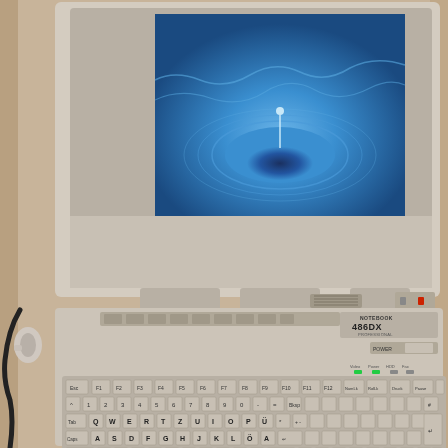[Figure (photo): Photograph of a vintage Notebook 486DX laptop computer with cream/beige casing, open lid showing a blue screen with a water ripple animation. The keyboard is visible with a German QWERTZ layout. The laptop sits on a beige carpet surface. A small label reading 'NOTEBOOK 486DX' is visible on the front panel. Green and red LED indicators are visible near the top right.]